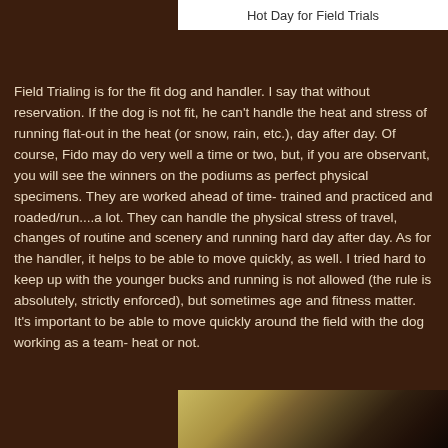Hot Day for Field Trials
Field Trialing is for the fit dog and handler.  I say that without reservation.  If the dog is not fit, he can't handle the heat and stress of running flat-out in the heat (or snow, rain, etc.), day after day.  Of course, Fido may do very well a time or two, but, if you are observant, you will see the winners on the podiums as perfect physical specimens. They are worked ahead of time- trained and practiced and roaded/run....a lot.  They can handle the physical stress of travel, changes of routine and scenery and running hard day after day. As for the handler, it helps to be able to move quickly, as well.  I tried hard to keep up with the younger bucks and running is not allowed (the rule is absolutely, strictly enforced), but sometimes age and fitness matter.  It's important to be able to move quickly around the field with the dog working as a team- heat or not.
[Figure (photo): Partial photo of a field trial scene, partially visible at the bottom of the page]